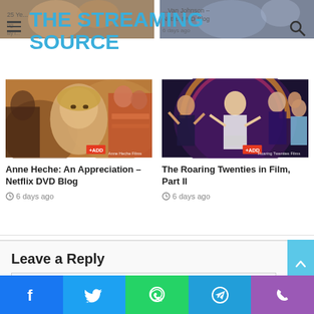THE STREAMING SOURCE
[Figure (photo): Anne Heche film collage with actress close-up]
Anne Heche: An Appreciation – Netflix DVD Blog
6 days ago
[Figure (photo): The Roaring Twenties in Film promotional image with dancers in 1920s attire]
The Roaring Twenties in Film, Part II
6 days ago
Leave a Reply